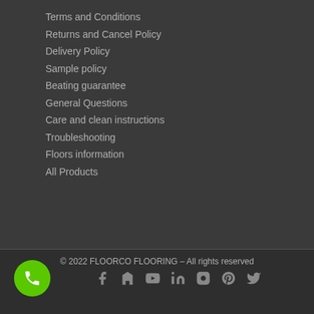Terms and Conditions
Returns and Cancel Policy
Delivery Policy
Sample policy
Beating guarantee
General Questions
Care and clean instructions
Troubleshooting
Floors information
All Products
© 2022 FLOORCO FLOORING – All rights reserved